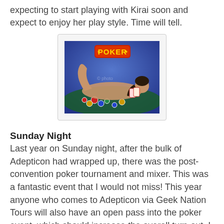expecting to start playing with Kirai soon and expect to enjoy her play style. Time will tell.
[Figure (photo): A woman lying on a poker table with playing chips, holding playing cards, with a POKER logo in the background.]
Sunday Night
Last year on Sunday night, after the bulk of Adepticon had wrapped up, there was the post-convention poker tournament and mixer. This was a fantastic event that I would not miss! This year anyone who comes to Adepticon via Geek Nation Tours will also have an open pass into the poker event, which should increase the overall turn-out. I will admit that while I can hope for opponents who look like the picture to the right, I expect that as this is a Gamer convention the room will look more like this: